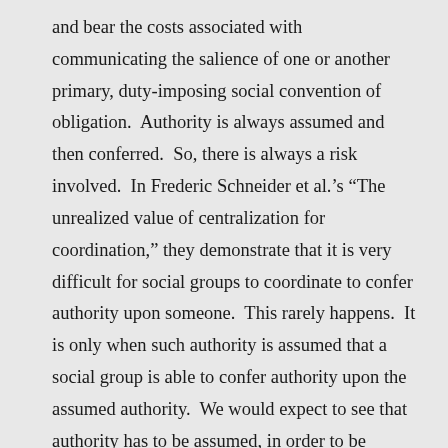and bear the costs associated with communicating the salience of one or another primary, duty-imposing social convention of obligation.  Authority is always assumed and then conferred.  So, there is always a risk involved.  In Frederic Schneider et al.'s “The unrealized value of centralization for coordination,” they demonstrate that it is very difficult for social groups to coordinate to confer authority upon someone.  This rarely happens.  It is only when such authority is assumed that a social group is able to confer authority upon the assumed authority.  We would expect to see that authority has to be assumed, in order to be conferred.  And, given the hypothesis that assuming authority requires a certain level of risk tolerance, as well as a certain level of foresight, we should not expect